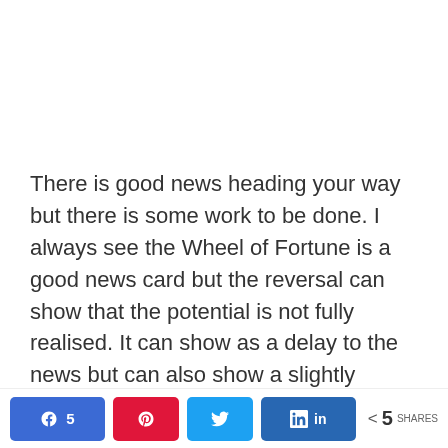There is good news heading your way but there is some work to be done. I always see the Wheel of Fortune is a good news card but the reversal can show that the potential is not fully realised. It can show as a delay to the news but can also show a slightly watered down version of events. Ask yourself what it is that you can do to fully realise your
Share buttons: Facebook 5, Pinterest, Twitter, LinkedIn | 5 SHARES